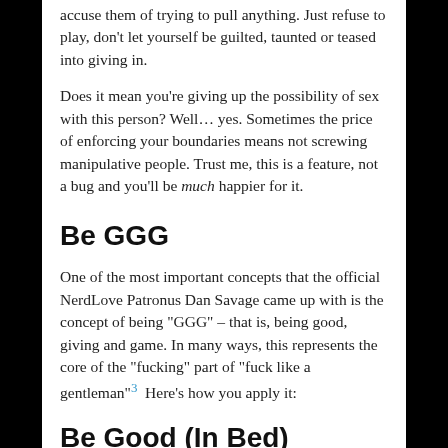accuse them of trying to pull anything. Just refuse to play, don't let yourself be guilted, taunted or teased into giving in.
Does it mean you're giving up the possibility of sex with this person? Well… yes. Sometimes the price of enforcing your boundaries means not screwing manipulative people. Trust me, this is a feature, not a bug and you'll be much happier for it.
Be GGG
One of the most important concepts that the official NerdLove Patronus Dan Savage came up with is the concept of being "GGG" – that is, being good, giving and game. In many ways, this represents the core of the "fucking" part of "fuck like a gentleman"3  Here's how you apply it:
Be Good (In Bed)